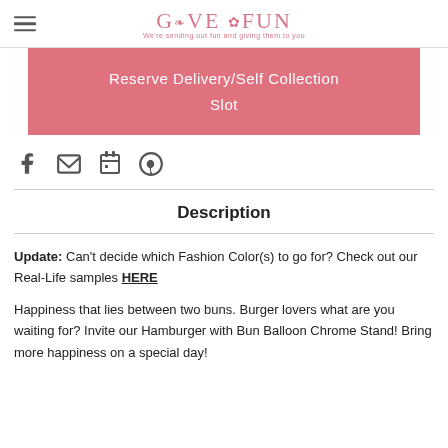GIVE FUN — We're sending out fun and giving them to you
[Figure (other): Pink Reserve Delivery/Self Collection Slot button]
[Figure (other): Social share icons: Facebook, Email, Print, Pinterest]
Description
Update: Can't decide which Fashion Color(s) to go for? Check out our Real-Life samples HERE
Happiness that lies between two buns. Burger lovers what are you waiting for? Invite our Hamburger with Bun Balloon Chrome Stand! Bring more happiness on a special day!